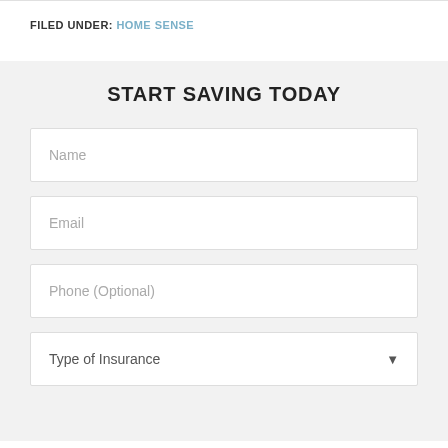FILED UNDER: HOME SENSE
START SAVING TODAY
Name
Email
Phone (Optional)
Type of Insurance